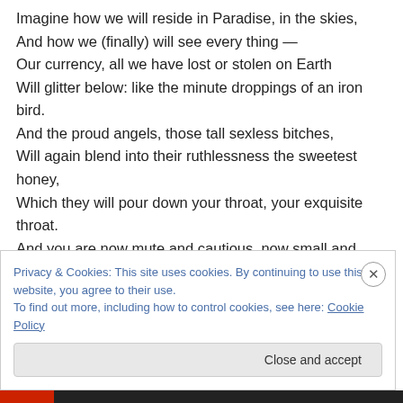Imagine how we will reside in Paradise, in the skies,
And how we (finally) will see every thing —
Our currency, all we have lost or stolen on Earth
Will glitter below: like the minute droppings of an iron bird.
And the proud angels, those tall sexless bitches,
Will again blend into their ruthlessness the sweetest honey,
Which they will pour down your throat, your exquisite throat.
And you are now mute and cautious, now small and tranquil,
Privacy & Cookies: This site uses cookies. By continuing to use this website, you agree to their use.
To find out more, including how to control cookies, see here: Cookie Policy
Close and accept